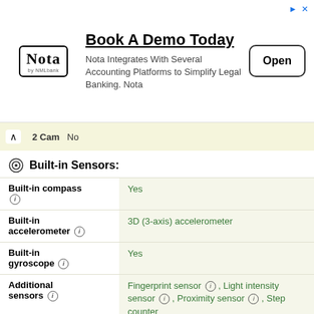[Figure (other): Advertisement banner for Nota: 'Book A Demo Today - Nota Integrates With Several Accounting Platforms to Simplify Legal Banking. Nota' with an Open button]
2 Cam   No
nsor ℹ
Built-in Sensors:
| Spec | Value |
| --- | --- |
| Built-in compass ℹ | Yes |
| Built-in accelerometer ℹ | 3D (3-axis) accelerometer |
| Built-in gyroscope ℹ | Yes |
| Additional sensors ℹ | Fingerprint sensor ℹ , Light intensity sensor ℹ , Proximity sensor ℹ , Step counter |
Ingress Protection:
| Spec | Value |
| --- | --- |
| Protection from solid materials ℹ | 6 Totally protected from dust (no ingress) |
| Protection from liquids ℹ | 8 Persistently protected against immersion beyond 1 meter of depth |